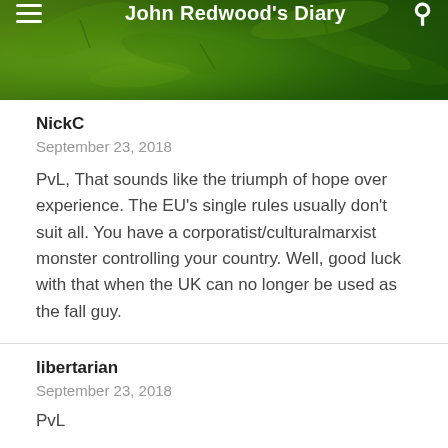John Redwood's Diary
NickC
September 23, 2018
PvL, That sounds like the triumph of hope over experience. The EU's single rules usually don't suit all. You have a corporatist/culturalmarxist monster controlling your country. Well, good luck with that when the UK can no longer be used as the fall guy.
libertarian
September 23, 2018
PvL
Good luck with that. You do know MEPs voted against it in